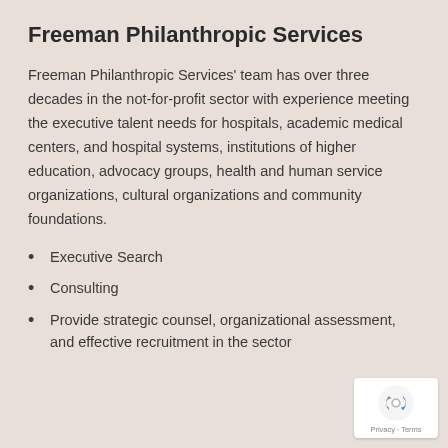Freeman Philanthropic Services
Freeman Philanthropic Services’ team has over three decades in the not-for-profit sector with experience meeting the executive talent needs for hospitals, academic medical centers, and hospital systems, institutions of higher education, advocacy groups, health and human service organizations, cultural organizations and community foundations.
Executive Search
Consulting
Provide strategic counsel, organizational assessment, and effective recruitment in the sector